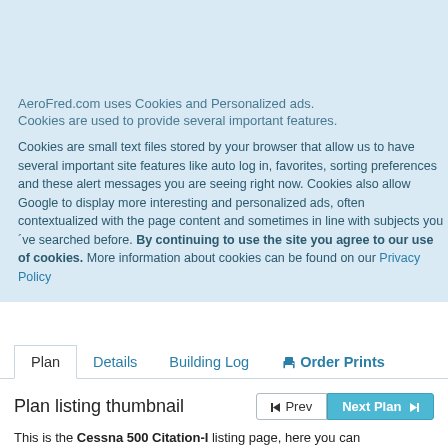AeroFred.com - Download and Share Free Model Airplane and Boat Plans.
Accept and Close ×
AeroFred.com uses Cookies and Personalized ads.
Cookies are used to provide several important features.
Cookies are small text files stored by your browser that allow us to have several important site features like auto log in, favorites, sorting preferences and these alert messages you are seeing right now. Cookies also allow Google to display more interesting and personalized ads, often contextualized with the page content and sometimes in line with subjects you´ve searched before. By continuing to use the site you agree to our use of cookies. More information about cookies can be found on our Privacy Policy
Plan	Details	Building Log	🖨 Order Prints
Plan listing thumbnail
This is the Cessna 500 Citation-I listing page, here you can